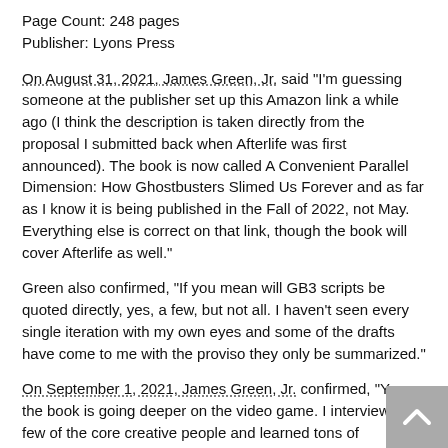Page Count: 248 pages
Publisher: Lyons Press
On August 31, 2021, James Green, Jr. said "I'm guessing someone at the publisher set up this Amazon link a while ago (I think the description is taken directly from the proposal I submitted back when Afterlife was first announced). The book is now called A Convenient Parallel Dimension: How Ghostbusters Slimed Us Forever and as far as I know it is being published in the Fall of 2022, not May. Everything else is correct on that link, though the book will cover Afterlife as well."
Green also confirmed, "If you mean will GB3 scripts be quoted directly, yes, a few, but not all. I haven't seen every single iteration with my own eyes and some of the drafts have come to me with the proviso they only be summarized."
On September 1, 2021, James Green, Jr. confirmed, "Yes, the book is going deeper on the video game. I interviewed a few of the core creative people and learned tons of fascinating stuff. You're right, it's an important juncture in the franchise